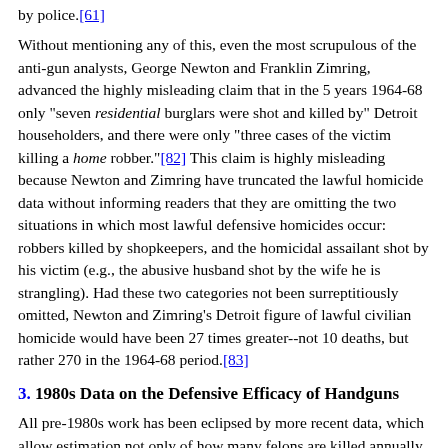by police.[61]
Without mentioning any of this, even the most scrupulous of the anti-gun analysts, George Newton and Franklin Zimring, advanced the highly misleading claim that in the 5 years 1964-68 only "seven residential burglars were shot and killed by" Detroit householders, and there were only "three cases of the victim killing a home robber."[82] This claim is highly misleading because Newton and Zimring have truncated the lawful homicide data without informing readers that they are omitting the two situations in which most lawful defensive homicides occur: robbers killed by shopkeepers, and the homicidal assailant shot by his victim (e.g., the abusive husband shot by the wife he is strangling). Had these two categories not been surreptitiously omitted, Newton and Zimring's Detroit figure of lawful civilian homicide would have been 27 times greater--not 10 deaths, but rather 270 in the 1964-68 period.[83]
3. 1980s Data on the Defensive Efficacy of Handguns
All pre-1980s work has been eclipsed by more recent data, which allow estimation not only of how many felons are killed annually by armed citizens but also of those captured or scared off. This evidence derives from private national surveys on gun issues. Though sponsored by pro- or anti-gun groups, the polls were